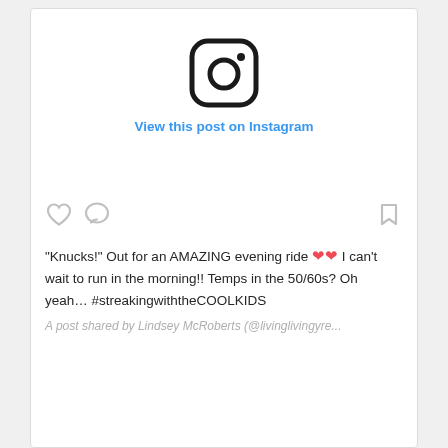[Figure (logo): Instagram camera logo icon in black outline]
View this post on Instagram
[Figure (other): Action bar with heart icon, comment icon (gray), and bookmark icon (gray)]
"Knucks!" Out for an AMAZING evening ride ❤❤ I can't wait to run in the morning!! Temps in the 50/60s? Oh yeah… #streakingwiththeCOOLKIDS
A post shared by Lindsey McRoberts (@livinglivingyre...